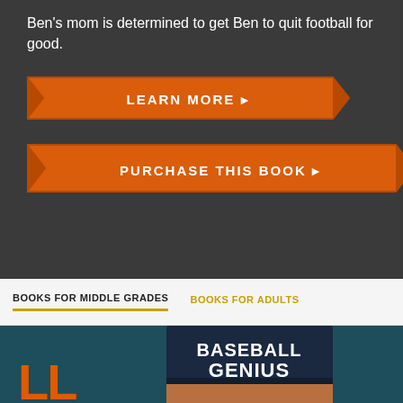Ben's mom is determined to get Ben to quit football for good.
[Figure (infographic): Orange ribbon-shaped button with text LEARN MORE ▸]
[Figure (infographic): Orange ribbon-shaped button with text PURCHASE THIS BOOK ▸]
BOOKS FOR MIDDLE GRADES
BOOKS FOR ADULTS
[Figure (photo): Book cover showing a baseball player wearing a cap that reads BASEBALL GENIUS, against a teal background. Partial orange letters visible at lower left.]